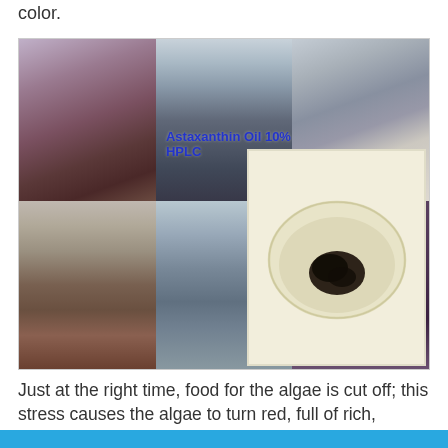color.
[Figure (photo): Composite of 5 photos showing algae cultivation ponds/raceways in different stages, plus an inset image of a bowl containing dark astaxanthin oil extract. A label reads 'Astaxanthin Oil 10% HPLC' in blue text overlaid on the top-middle photo.]
Just at the right time, food for the algae is cut off; this stress causes the algae to turn red, full of rich, natural astaxanthin ready for harvesting.